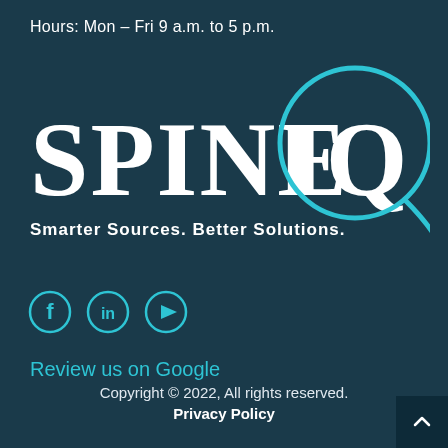Hours: Mon – Fri 9 a.m. to 5 p.m.
[Figure (logo): SpineIQ logo with tagline 'Smarter Sources. Better Solutions.']
[Figure (illustration): Social media icons: Facebook, LinkedIn, YouTube]
Review us on Google
Copyright © 2022, All rights reserved. Privacy Policy